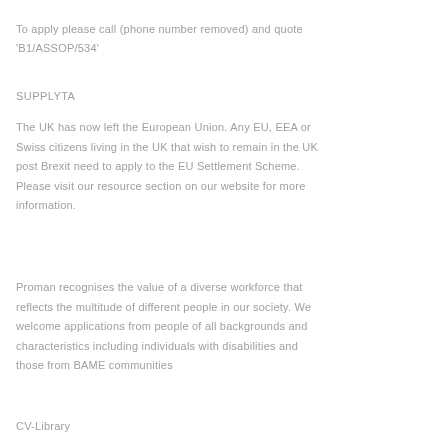To apply please call (phone number removed) and quote 'B1/ASSOP/534'
SUPPLYTA
The UK has now left the European Union. Any EU, EEA or Swiss citizens living in the UK that wish to remain in the UK post Brexit need to apply to the EU Settlement Scheme. Please visit our resource section on our website for more information.
Proman recognises the value of a diverse workforce that reflects the multitude of different people in our society. We welcome applications from people of all backgrounds and characteristics including individuals with disabilities and those from BAME communities
CV-Library